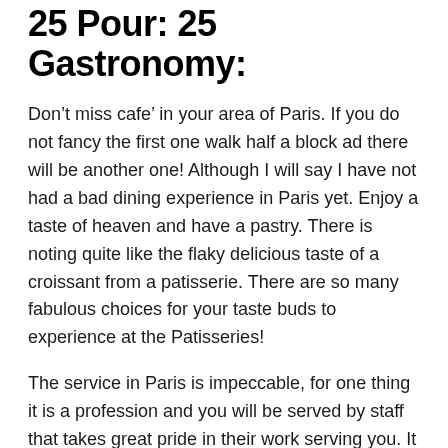25 Pour: 25 Gastronomy:
Don’t miss cafe’ in your area of Paris. If you do not fancy the first one walk half a block ad there will be another one! Although I will say I have not had a bad dining experience in Paris yet. Enjoy a taste of heaven and have a pastry. There is noting quite like the flaky delicious taste of a croissant from a patisserie. There are so many fabulous choices for your taste buds to experience at the Patisseries!
The service in Paris is impeccable, for one thing it is a profession and you will be served by staff that takes great pride in their work serving you. It is not the custom in France to tip. That said occasionally I would leave a tip for excellent service. There is a lesson in watching that service to others!